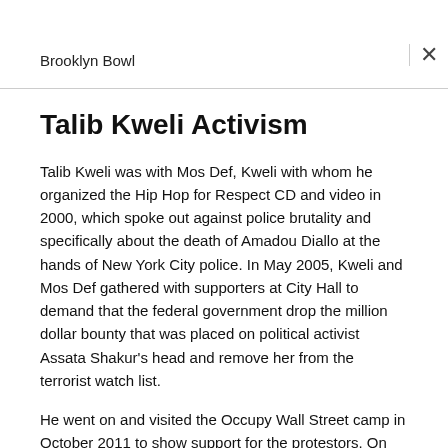Brooklyn Bowl
Talib Kweli Activism
Talib Kweli was with Mos Def, Kweli with whom he organized the Hip Hop for Respect CD and video in 2000, which spoke out against police brutality and specifically about the death of Amadou Diallo at the hands of New York City police. In May 2005, Kweli and Mos Def gathered with supporters at City Hall to demand that the federal government drop the million dollar bounty that was placed on political activist Assata Shakur's head and remove her from the terrorist watch list.
He went on and visited the Occupy Wall Street camp in October 2011 to show support for the protestors. On October 1, 2012, Kweli spoke at a rally at city hall to urge the NYPD